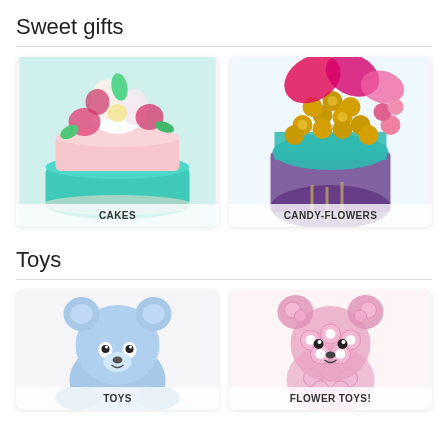Sweet gifts
[Figure (photo): A decorative cake with colorful flower decorations on a teal base, labeled CAKES]
[Figure (photo): A bouquet of candy flowers with gold and pink decorations, labeled CANDY-FLOWERS]
Toys
[Figure (photo): A light blue teddy bear plush toy, labeled TOYS]
[Figure (photo): A pink flower-shaped toy bear made of chrysanthemums, labeled FLOWER TOYS!]